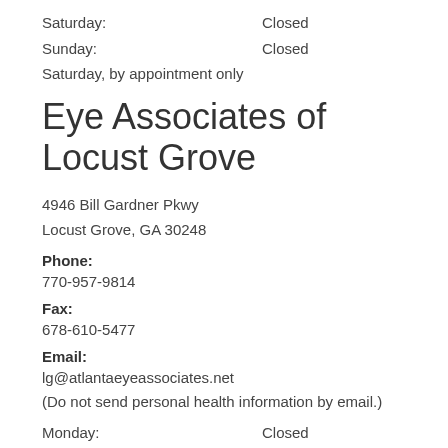Saturday: Closed
Sunday: Closed
Saturday, by appointment only
Eye Associates of Locust Grove
4946 Bill Gardner Pkwy
Locust Grove, GA 30248
Phone:
770-957-9814
Fax:
678-610-5477
Email:
lg@atlantaeyeassociates.net
(Do not send personal health information by email.)
Monday: Closed